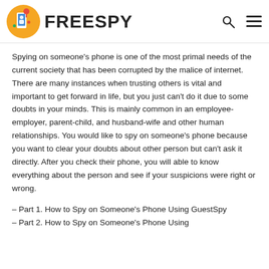FREESPY
Spying on someone's phone is one of the most primal needs of the current society that has been corrupted by the malice of internet. There are many instances when trusting others is vital and important to get forward in life, but you just can't do it due to some doubts in your minds. This is mainly common in an employee-employer, parent-child, and husband-wife and other human relationships. You would like to spy on someone's phone because you want to clear your doubts about other person but can't ask it directly. After you check their phone, you will able to know everything about the person and see if your suspicions were right or wrong.
– Part 1. How to Spy on Someone's Phone Using GuestSpy
– Part 2. How to Spy on Someone's Phone Using